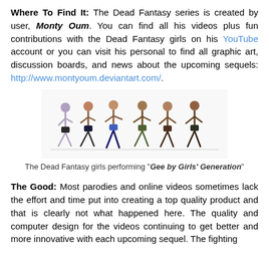Where To Find It: The Dead Fantasy series is created by user, Monty Oum. You can find all his videos plus fun contributions with the Dead Fantasy girls on his YouTube account or you can visit his personal to find all graphic art, discussion boards, and news about the upcoming sequels: http://www.montyoum.deviantart.com/.
[Figure (illustration): The Dead Fantasy girls performing dance moves, shown as a group of animated/CGI female characters in various poses]
The Dead Fantasy girls performing "Gee by Girls' Generation"
The Good: Most parodies and online videos sometimes lack the effort and time put into creating a top quality product and that is clearly not what happened here. The quality and computer design for the videos continuing to get better and more innovative with each upcoming sequel. The fighting